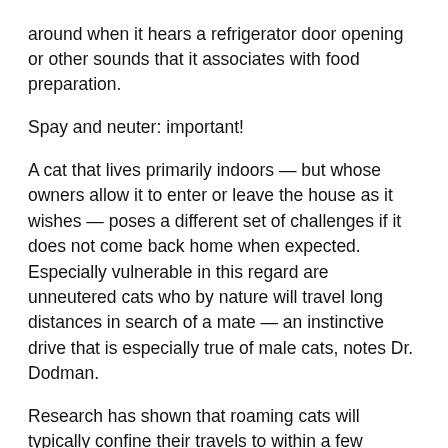around when it hears a refrigerator door opening or other sounds that it associates with food preparation.
Spay and neuter: important!
A cat that lives primarily indoors — but whose owners allow it to enter or leave the house as it wishes — poses a different set of challenges if it does not come back home when expected. Especially vulnerable in this regard are unneutered cats who by nature will travel long distances in search of a mate — an instinctive drive that is especially true of male cats, notes Dr. Dodman.
Research has shown that roaming cats will typically confine their travels to within a few hundred feet of their homes. But unneutered males may roam much greater distances in search of a mate.
Once outside, a cat — whether intact or neutered — may find a comfortable hiding place and just stay in the same spot until its hunger drives it back home. The indoor-outdoor cat is likely to come home to check in with its owners and look for food